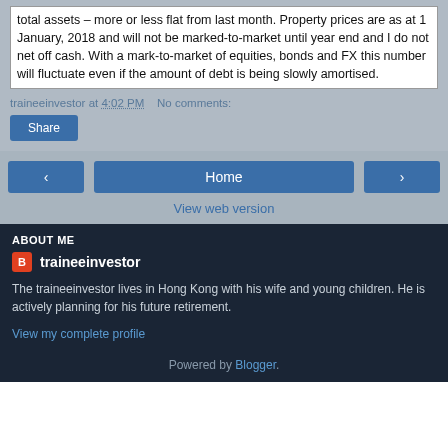total assets – more or less flat from last month. Property prices are as at 1 January, 2018 and will not be marked-to-market until year end and I do not net off cash. With a mark-to-market of equities, bonds and FX this number will fluctuate even if the amount of debt is being slowly amortised.
traineeinvestor at 4:02 PM   No comments:
Share
‹ Home ›
View web version
ABOUT ME
traineeinvestor
The traineeinvestor lives in Hong Kong with his wife and young children. He is actively planning for his future retirement.
View my complete profile
Powered by Blogger.